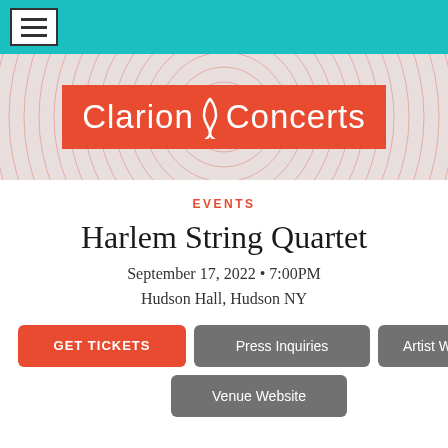Navigation menu
[Figure (logo): Clarion Concerts logo on red background with concentric circle pattern behind it]
EVENTS
Harlem String Quartet
September 17, 2022 • 7:00PM
Hudson Hall, Hudson NY
GET TICKETS
Press Inquiries
Artist Website
Venue Website